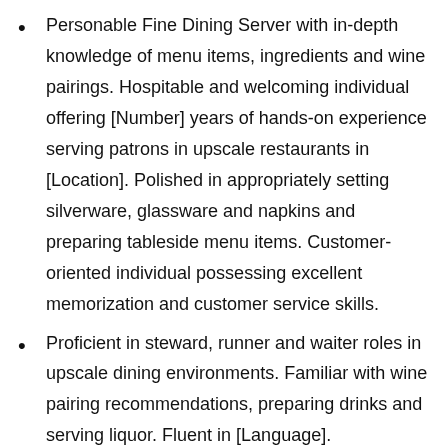Personable Fine Dining Server with in-depth knowledge of menu items, ingredients and wine pairings. Hospitable and welcoming individual offering [Number] years of hands-on experience serving patrons in upscale restaurants in [Location]. Polished in appropriately setting silverware, glassware and napkins and preparing tableside menu items. Customer-oriented individual possessing excellent memorization and customer service skills.
Proficient in steward, runner and waiter roles in upscale dining environments. Familiar with wine pairing recommendations, preparing drinks and serving liquor. Fluent in [Language].
Energetic Fine Dining Server skillful in hosting group events of more than [Number] people. Friendly and charismatic individual with [Number] years contributing